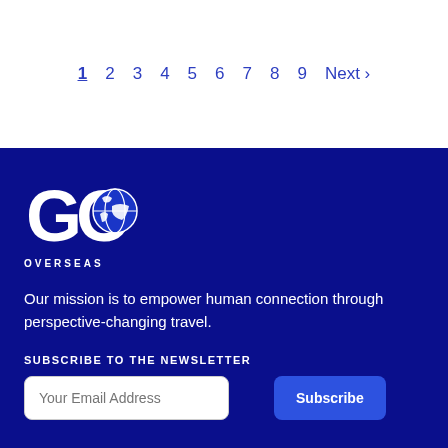1 2 3 4 5 6 7 8 9 Next ›
[Figure (logo): Go Overseas logo — large GO text with globe icon, OVERSEAS text below, white on dark blue background]
Our mission is to empower human connection through perspective-changing travel.
SUBSCRIBE TO THE NEWSLETTER
Your Email Address
Subscribe